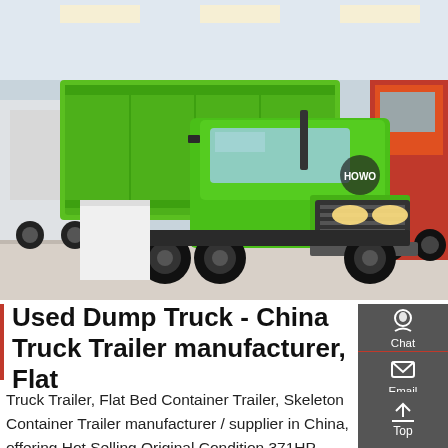[Figure (photo): Green HOWO Sinotruck dump truck displayed at an indoor auto/truck show. The large green dump truck is center stage with its tipper bed visible. Other trucks including a red truck are visible in the background. Exhibition hall setting with bright lighting.]
Used Dump Truck - China Truck Trailer manufacturer, Flat
Truck Trailer, Flat Bed Container Trailer, Skeleton Container Trailer manufacturer / supplier in China, offering Hot Selling Original Condition 371HP 375HP 6X4 Sinotruck HOWO Used Tractor Truck Head with Best Price, 371HP Used Tipper Truck 10 Wheeler 35ton Dump Truck Heavy, Good Quality Chinese Best Selling Euro III 2015 Model 6X4 6 Wheel Dump Truck Load